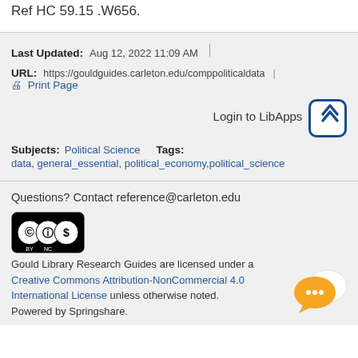Ref HC 59.15 .W656.
Last Updated: Aug 12, 2022 11:09 AM
URL: https://gouldguides.carleton.edu/comppoliticaldata  Print Page
Login to LibApps
Subjects: Political Science  Tags: data, general_essential, political_economy, political_science
Questions? Contact reference@carleton.edu
Gould Library Research Guides are licensed under a Creative Commons Attribution-NonCommercial 4.0 International License unless otherwise noted. Powered by Springshare.